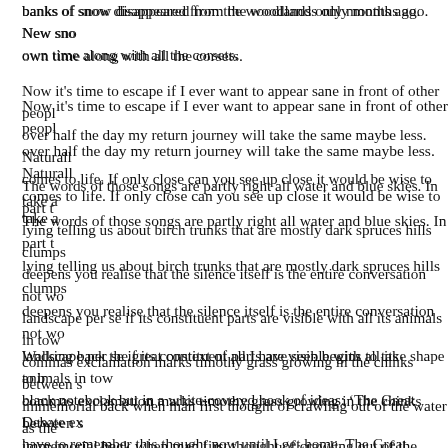banks of snow disappeared from the woodlands only months ago. New snow... own time along with all the corsets.
Now it's time to escape if I ever want to appear sane in front of other people... over half the day my return journey will take the same maybe less. Naturally... comes to life. If only close can you see up close it would be wise to take a...
The words of those songs are partly right all water and blue skies. In part... lying telling us about birch trunks that are mostly dark spruces hills clumps... deepens you realise that the silence itself is the entire conversation not wo... landscape per se if its constituent parts are visible with all its animals in tow... commas exclamation marks timothy grass growing in the chinks between s... immemorial back when man first thought of crawling out of the water as the... continues until the species has disappeared without anyone remembering.
Walking back the great context of all I have seen begins to take shape to b... black notebook but in a white-covered book of ideas: ‘The Great Debate ex... have to remember this thought now until I get home. The Great Change: fi... sentiments then a thought in the middle of the forest falls silent like a new ... place at any time! You’d best hurry woodsman.
Only in the middle of the forest is it perfectly silent. Beyond Kumpulantie ro... the rumbling of the trains. People travelling in the same direction further no... personal destination: schoolchildren out to the pastures to stare at the co...